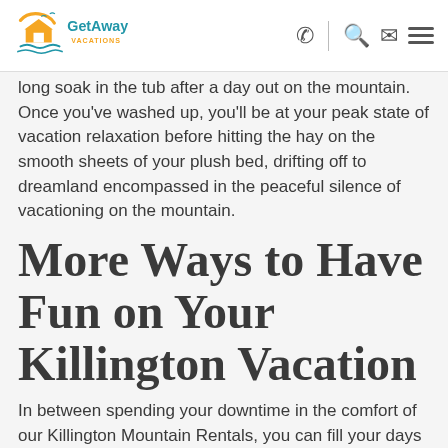GetAway Vacations
long soak in the tub after a day out on the mountain. Once you've washed up, you'll be at your peak state of vacation relaxation before hitting the hay on the smooth sheets of your plush bed, drifting off to dreamland encompassed in the peaceful silence of vacationing on the mountain.
More Ways to Have Fun on Your Killington Vacation
In between spending your downtime in the comfort of our Killington Mountain Rentals, you can fill your days with exciting activities and fascinating attractions, enjoying the best of what Killington and